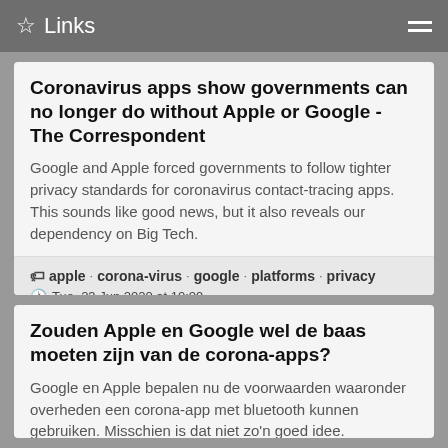Links
Coronavirus apps show governments can no longer do without Apple or Google - The Correspondent
Google and Apple forced governments to follow tighter privacy standards for coronavirus contact-tracing apps. This sounds like good news, but it also reveals our dependency on Big Tech.
apple · corona-virus · google · platforms · privacy
Tue, 23 Jun 2020 at 10:09
https://thecorrespondent.com/546/coronavirus-apps-show-gover...
Zouden Apple en Google wel de baas moeten zijn van de corona-apps?
Google en Apple bepalen nu de voorwaarden waaronder overheden een corona-app met bluetooth kunnen gebruiken. Misschien is dat niet zo'n goed idee.